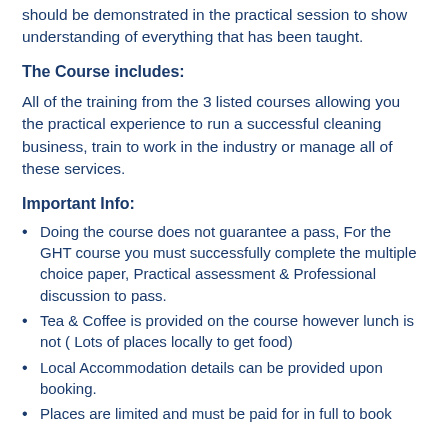should be demonstrated in the practical session to show understanding of everything that has been taught.
The Course includes:
All of the training from the 3 listed courses allowing you the practical experience to run a successful cleaning business, train to work in the industry or manage all of these services.
Important Info:
Doing the course does not guarantee a pass, For the GHT course you must successfully complete the multiple choice paper, Practical assessment & Professional discussion to pass.
Tea & Coffee is provided on the course however lunch is not ( Lots of places locally to get food)
Local Accommodation details can be provided upon booking.
Places are limited and must be paid for in full to book